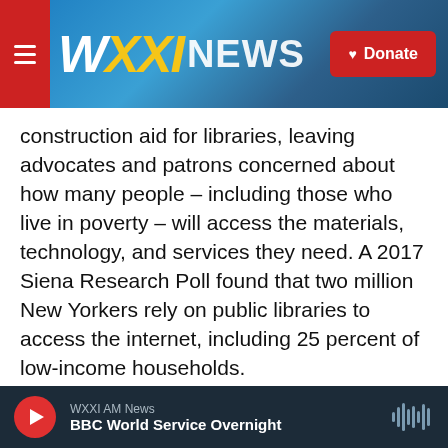WXXI NEWS | Donate
construction aid for libraries, leaving advocates and patrons concerned about how many people – including those who live in poverty – will access the materials, technology, and services they need. A 2017 Siena Research Poll found that two million New Yorkers rely on public libraries to access the internet, including 25 percent of low-income households.
We explore how the potential cuts could impact library users, including those in local rural communities where a significant number of families do not have access to the internet at
WXXI AM News | BBC World Service Overnight